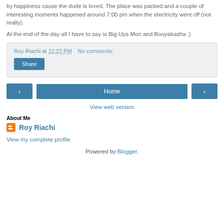by happiness cause the dude is loved. The place was packed and a couple of interesting moments happened around 7:00 pm when the electricity went off (not really).
At the end of the day all I have to say is Big Ups Mon and Bouyakasha ;)
Roy Riachi at 12:22 PM   No comments:
Share
[Figure (screenshot): Navigation buttons: left arrow, Home, right arrow]
View web version
About Me
Roy Riachi
View my complete profile
Powered by Blogger.